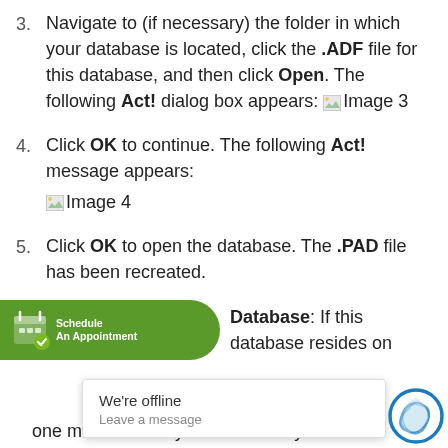3. Navigate to (if necessary) the folder in which your database is located, click the .ADF file for this database, and then click Open. The following Act! dialog box appears: [Image 3]
4. Click OK to continue. The following Act! message appears: [Image 4]
5. Click OK to open the database. The .PAD file has been recreated.
Database: If this database resides on one machine and you are the only user of the database, ... o change the .PA... e n...